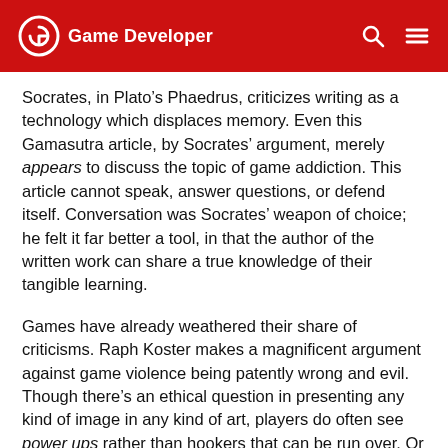Game Developer
Socrates, in Plato’s Phaedrus, criticizes writing as a technology which displaces memory. Even this Gamasutra article, by Socrates’ argument, merely appears to discuss the topic of game addiction. This article cannot speak, answer questions, or defend itself. Conversation was Socrates’ weapon of choice; he felt it far better a tool, in that the author of the written work can share a true knowledge of their tangible learning.
Games have already weathered their share of criticisms. Raph Koster makes a magnificent argument against game violence being patently wrong and evil. Though there’s an ethical question in presenting any kind of image in any kind of art, players do often see power ups rather than hookers that can be run over. Or bunnies to be